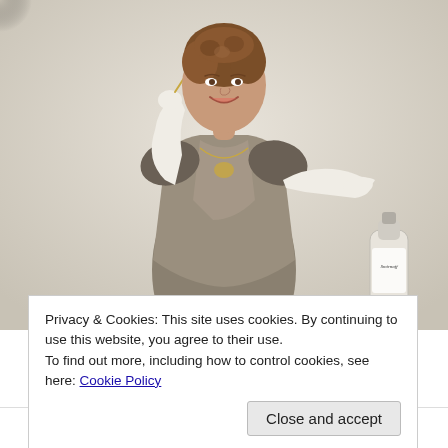[Figure (photo): Vintage advertisement photo of an elegantly dressed woman in a grey satin dress with white elbow-length gloves, smiling, holding a small ornament or lorgnette. A Smirnoff vodka bottle is partially visible at the lower right. Light beige/cream background.]
Privacy & Cookies: This site uses cookies. By continuing to use this website, you agree to their use.
To find out more, including how to control cookies, see here: Cookie Policy
Close and accept
it leaves you breathless
Smirnoff